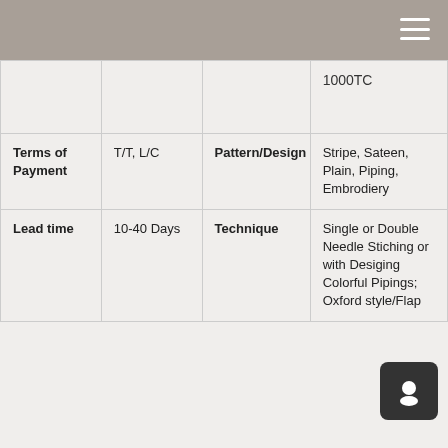|  |  |  |  |
| --- | --- | --- | --- |
|  |  |  | 1000TC |
| Terms of Payment | T/T, L/C | Pattern/Design | Stripe, Sateen, Plain, Piping, Embrodiery |
| Lead time | 10-40 Days | Technique | Single or Double Needle Stiching or with Desiging Colorful Pipings; Oxford style/Flap |